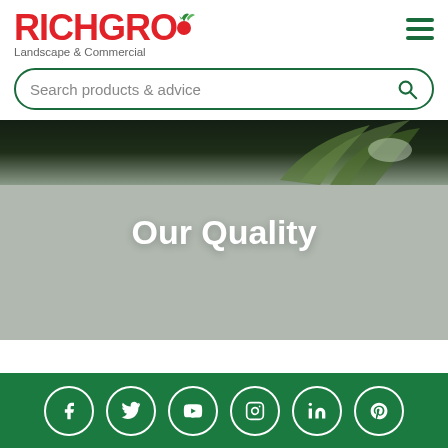[Figure (logo): Richgro Landscape & Commercial logo with red text and green leaf icon]
Search products & advice
[Figure (photo): Hero banner with dark green plant/grass background fading to gray, with text 'Our Quality']
Our Quality
[Figure (infographic): Green footer with social media icons: Facebook, Twitter, YouTube, Instagram, LinkedIn, Pinterest]